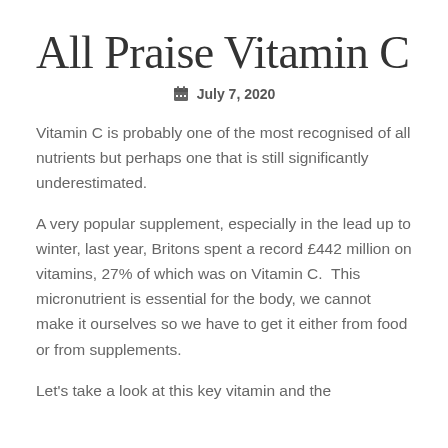All Praise Vitamin C
July 7, 2020
Vitamin C is probably one of the most recognised of all nutrients but perhaps one that is still significantly underestimated.
A very popular supplement, especially in the lead up to winter, last year, Britons spent a record £442 million on vitamins, 27% of which was on Vitamin C.  This micronutrient is essential for the body, we cannot make it ourselves so we have to get it either from food or from supplements.
Let's take a look at this key vitamin and the